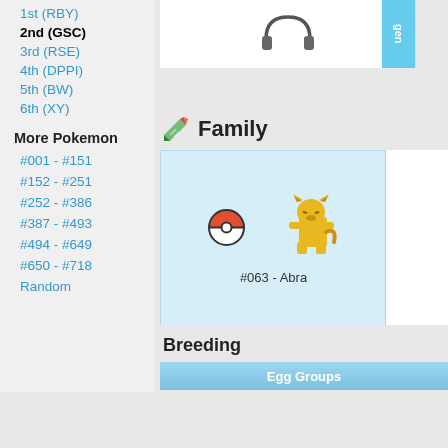1st (RBY)
2nd (GSC)
3rd (RSE)
4th (DPPI)
5th (BW)
6th (XY)
More Pokemon
#001 - #151
#152 - #251
#252 - #386
#387 - #493
#494 - #649
#650 - #718
Random
[Figure (illustration): Headphone icon in white panel with blue 'gen' button on right side]
Family
[Figure (illustration): Pokemon family evolution box showing Pokeball and Abra sprite (#063 - Abra) on light blue background]
#063 - Abra
Breeding
| Egg Groups |
| --- |